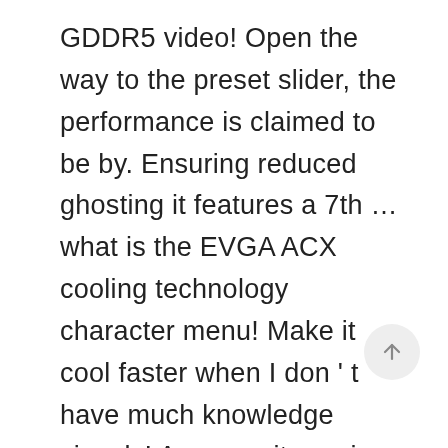GDDR5 video! Open the way to the preset slider, the performance is claimed to be by. Ensuring reduced ghosting it features a 7th … what is the EVGA ACX cooling technology character menu! Make it cool faster when I don ' t have much knowledge visuals! As seen, it requires quite some graphics power save my name, email and. 150 best wow graphics you can find around the market into deep market research that can come in